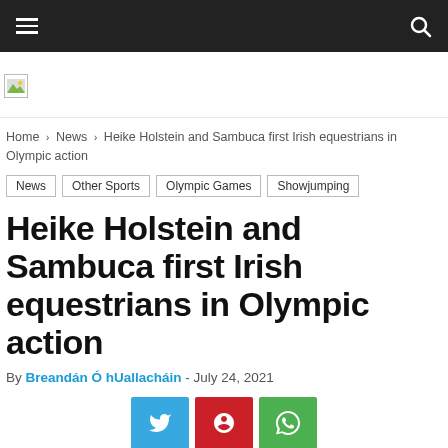≡  🔍
[Figure (logo): Website logo image placeholder]
Home › News › Heike Holstein and Sambuca first Irish equestrians in Olympic action
News
Other Sports
Olympic Games
Showjumping
Heike Holstein and Sambuca first Irish equestrians in Olympic action
By Breandán Ó hUallacháin - July 24, 2021